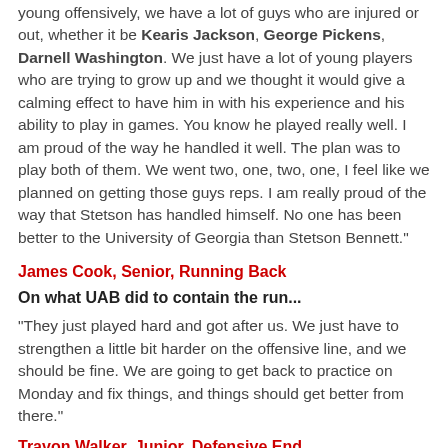young offensively, we have a lot of guys who are injured or out, whether it be Kearis Jackson, George Pickens, Darnell Washington. We just have a lot of young players who are trying to grow up and we thought it would give a calming effect to have him in with his experience and his ability to play in games. You know he played really well. I am proud of the way he handled it well. The plan was to play both of them. We went two, one, two, one, I feel like we planned on getting those guys reps. I am really proud of the way that Stetson has handled himself. No one has been better to the University of Georgia than Stetson Bennett."
James Cook, Senior, Running Back
On what UAB did to contain the run...
"They just played hard and got after us. We just have to strengthen a little bit harder on the offensive line, and we should be fine. We are going to get back to practice on Monday and fix things, and things should get better from there."
Travon Walker, Junior, Defensive End